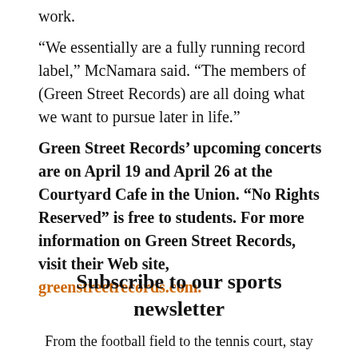work.
“We essentially are a fully running record label,” McNamara said. “The members of (Green Street Records) are all doing what we want to pursue later in life.”
Green Street Records’ upcoming concerts are on April 19 and April 26 at the Courtyard Cafe in the Union. “No Rights Reserved” is free to students. For more information on Green Street Records, visit their Web site, greenstreetrecords.com.
Subscribe to our sports newsletter
From the football field to the tennis court, stay